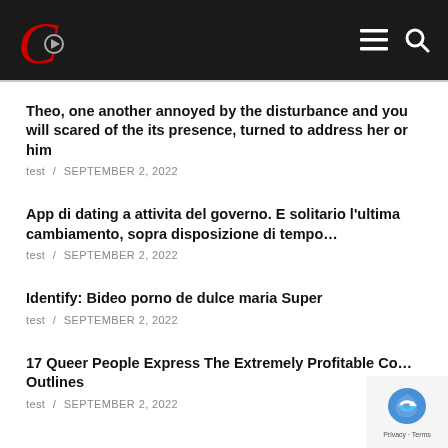C [logo with play icon] — navigation menu and search icons
Theo, one another annoyed by the disturbance and you will scared of the its presence, turned to address her or him
test / SEPTEMBER 2, 2022
App di dating a attivita del governo. E solitario l'ultima cambiamento, sopra disposizione di tempo…
test / SEPTEMBER 2, 2022
Identify: Bideo porno de dulce maria Super
test / SEPTEMBER 2, 2022
17 Queer People Express The Extremely Profitable Co… Outlines
test / SEPTEMBER 2, 2022